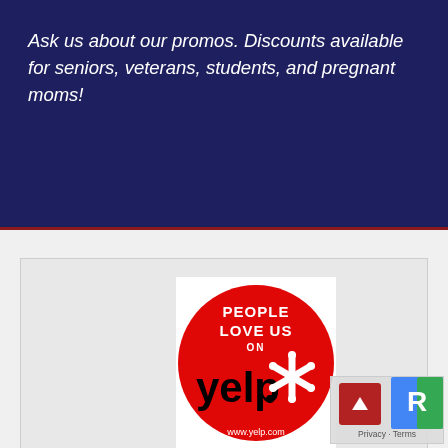Ask us about our promos. Discounts available for seniors, veterans, students, and pregnant moms!
[Figure (logo): Yelp 'People Love Us on Yelp' badge — red circle with white text 'PEOPLE LOVE US ON' above the yelp logo with burst, and 'www.yelp.com' at bottom]
[Figure (other): UI widget with back-to-top arrow button (red) and Privacy - Terms text, with reCAPTCHA logo overlay]